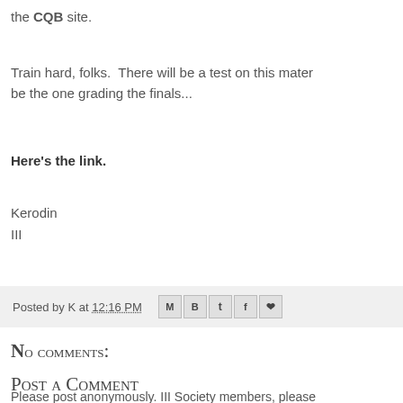the CQB site.
Train hard, folks.  There will be a test on this mater be the one grading the finals...
Here's the link.
Kerodin
III
Posted by K at 12:16 PM
No comments:
Post a Comment
Please post anonymously. III Society members, please